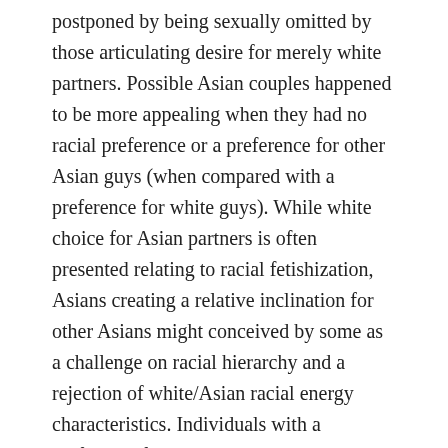postponed by being sexually omitted by those articulating desire for merely white partners. Possible Asian couples happened to be more appealing when they had no racial preference or a preference for other Asian guys (when compared with a preference for white guys). While white choice for Asian partners is often presented relating to racial fetishization, Asians creating a relative inclination for other Asians might conceived by some as a challenge on racial hierarchy and a rejection of white/Asian racial energy characteristics. Individuals with a preference for white people happened to be considerably desirable than both individuals with no racial inclination and those with a preference for other Asian guys. That is discussed by previous research which includes learned that despite many Asian 161 is done, many of those from Asian guys.